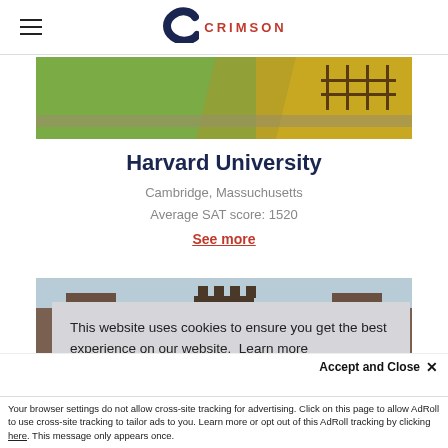Crimson (logo and navigation header)
[Figure (photo): Campus lawn/field photo showing green grass and autumn yellow leaves with a path and fence structures in the background]
Harvard University
Cambridge, Massuchusetts
Average SAT score: 1520
See more
[Figure (photo): Gothic/castle-style university building with battlements and towers against a light sky]
This website uses cookies to ensure you get the best experience on our website.  Learn more
Accept and Close ✕
Your browser settings do not allow cross-site tracking for advertising. Click on this page to allow AdRoll to use cross-site tracking to tailor ads to you. Learn more or opt out of this AdRoll tracking by clicking here. This message only appears once.